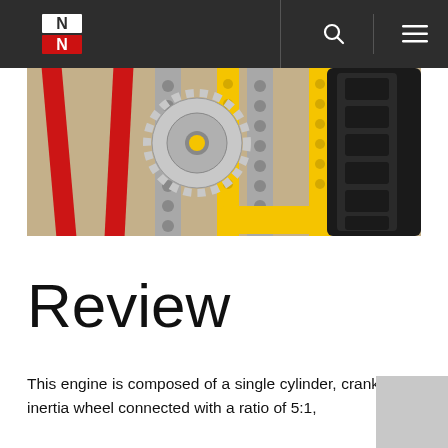N logo with search and menu icons
[Figure (photo): Close-up photo of LEGO Technic engine components including red beams, yellow beams, grey Technic beams with holes, gears, and a black rubber tyre on the right side.]
Review
This engine is composed of a single cylinder, crankshaft, inertia wheel connected with a ratio of 5:1,